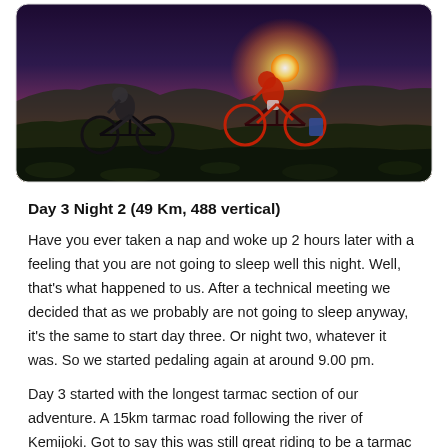[Figure (photo): Two cyclists riding bikes on a rocky hillside at sunset, with a glowing orange sun on the horizon and mountains/hills in the background.]
Day 3 Night 2 (49 Km, 488 vertical)
Have you ever taken a nap and woke up 2 hours later with a feeling that you are not going to sleep well this night. Well, that's what happened to us. After a technical meeting we decided that as we probably are not going to sleep anyway, it's the same to start day three. Or night two, whatever it was. So we started pedaling again at around 9.00 pm.
Day 3 started with the longest tarmac section of our adventure. A 15km tarmac road following the river of Kemijoki. Got to say this was still great riding to be a tarmac road. A little bit of civilization, giving us and the legs some good downhills. After...